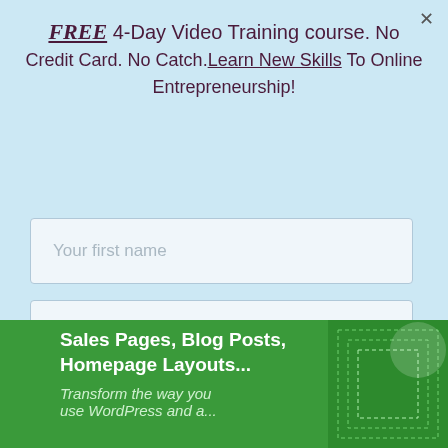FREE 4-Day Video Training course. No Credit Card. No Catch. Learn New Skills To Online Entrepreneurship!
[Figure (screenshot): Web popup/modal with light blue background containing a headline, two input fields (first name and email), a blue 'Send me the guide' button, and a partial green banner at the bottom showing 'Sales Pages, Blog Posts, Homepage Layouts...' and 'Transform the way you use WordPress and a...' text.]